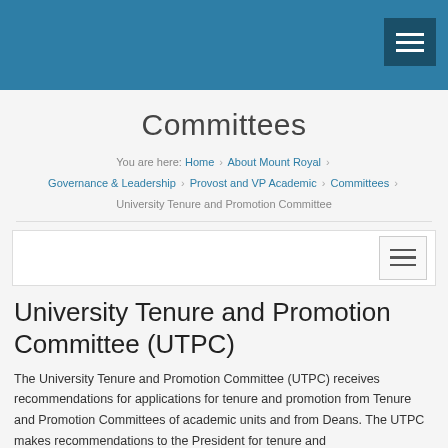Committees
You are here: Home › About Mount Royal › Governance & Leadership › Provost and VP Academic › Committees › University Tenure and Promotion Committee
[Figure (screenshot): Navigation menu toggle button (hamburger icon) inside a white bordered box]
University Tenure and Promotion Committee (UTPC)
The University Tenure and Promotion Committee (UTPC) receives recommendations for applications for tenure and promotion from Tenure and Promotion Committees of academic units and from Deans. The UTPC makes recommendations to the President for tenure and